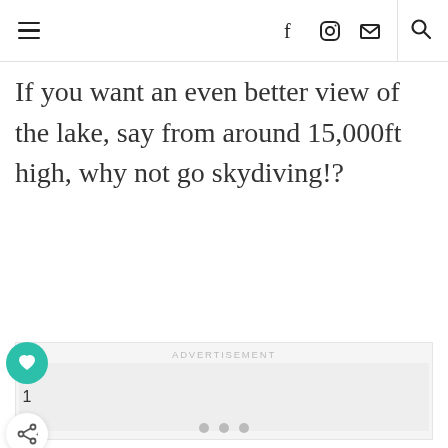Navigation header with hamburger menu, social icons (Facebook, Instagram, Email), and search icon
If you want an even better view of the lake, say from around 15,000ft high, why not go skydiving!?
[Figure (other): Advertisement placeholder block with 'ADVERTISEMENT' label, grey background, and three dot pagination indicators at the bottom]
[Figure (other): Sidebar with teal heart/like button, like count of 1, and white share button]